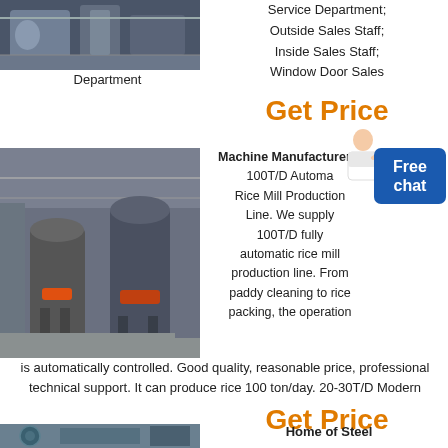[Figure (photo): Industrial factory interior with large machinery and overhead crane]
Service Department; Outside Sales Staff; Inside Sales Staff; Window Door Sales
Department
Get Price
[Figure (photo): Industrial grinding mill machines in a large factory warehouse]
Machine Manufacturer/F… 100T/D Automatic Rice Mill Production Line. We supply 100T/D fully automatic rice mill production line. From paddy cleaning to rice packing, the operation is automatically controlled. Good quality, reasonable price, professional technical support. It can produce rice 100 ton/day. 20-30T/D Modern
Get Price
[Figure (photo): Factory image partially visible at bottom]
Home of Steel